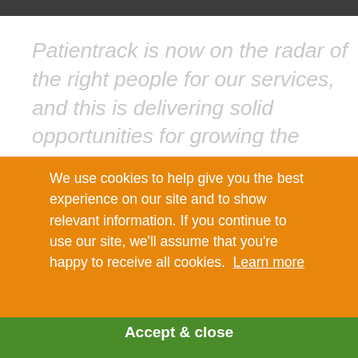Patientrack is now on the radar of the right people for our services, and this is delivering solid opportunities for growing the business. The Highland team were helpful throughout the campaign and [partially obscured] ...ld the [partially obscured]
We use cookies to help give you the best experience on our site and to show relevant information. If you continue to use our site, we'll assume that you're happy to receive all cookies. Learn more
Accept & close